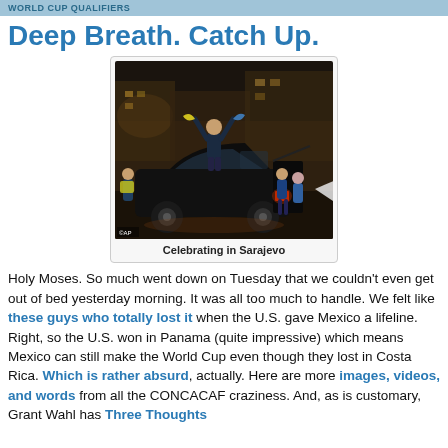WORLD CUP QUALIFIERS
Deep Breath. Catch Up.
[Figure (photo): People celebrating on and around a car at night in Sarajevo, Bosnia. Several fans are hanging out of the open trunk, waving flags. One person stands on top of the car with arms raised. Night street scene. AP photo credit.]
Celebrating in Sarajevo
Holy Moses. So much went down on Tuesday that we couldn't even get out of bed yesterday morning. It was all too much to handle. We felt like these guys who totally lost it when the U.S. gave Mexico a lifeline. Right, so the U.S. won in Panama (quite impressive) which means Mexico can still make the World Cup even though they lost in Costa Rica. Which is rather absurd, actually. Here are more images, videos, and words from all the CONCACAF craziness. And, as is customary, Grant Wahl has Three Thoughts